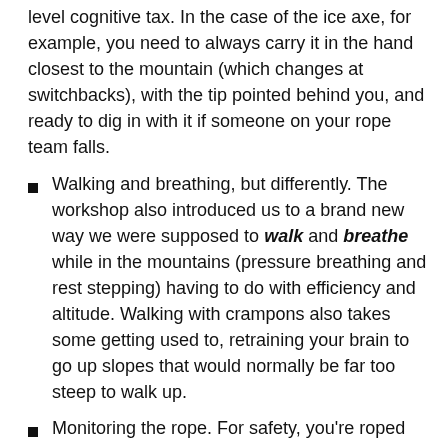level cognitive tax. In the case of the ice axe, for example, you need to always carry it in the hand closest to the mountain (which changes at switchbacks), with the tip pointed behind you, and ready to dig in with it if someone on your rope team falls.
Walking and breathing, but differently. The workshop also introduced us to a brand new way we were supposed to walk and breathe while in the mountains (pressure breathing and rest stepping) having to do with efficiency and altitude. Walking with crampons also takes some getting used to, retraining your brain to go up slopes that would normally be far too steep to walk up.
Monitoring the rope. For safety, you're roped together in teams so most folks have a rope attaching them to someone